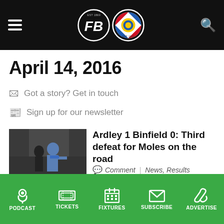Binfield FC news website header with hamburger menu, FB logo, Reading FC crest, and search icon
April 14, 2016
Got a story? Get in touch
Sign up for our newsletter
[Figure (photo): Photo of a man in a blue scarf gesturing on a football touchline]
Ardley 1 Binfield 0: Third defeat for Moles on the road
Comment | News, Results
PODCAST | TICKETS | FIXTURES | SUBSCRIBE | ADVERTISE